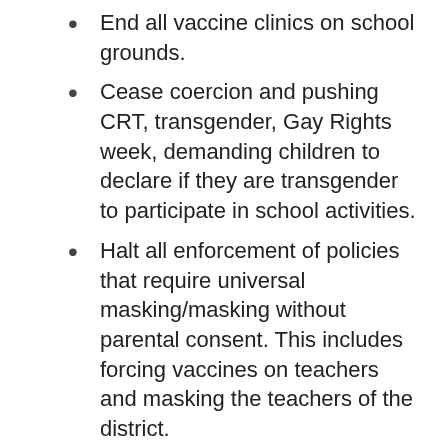End all vaccine clinics on school grounds.
Cease coercion and pushing CRT, transgender, Gay Rights week, demanding children to declare if they are transgender to participate in school activities.
Halt all enforcement of policies that require universal masking/masking without parental consent. This includes forcing vaccines on teachers and masking the teachers of the district.
Remove all obscene books and material from the public school system immediately.